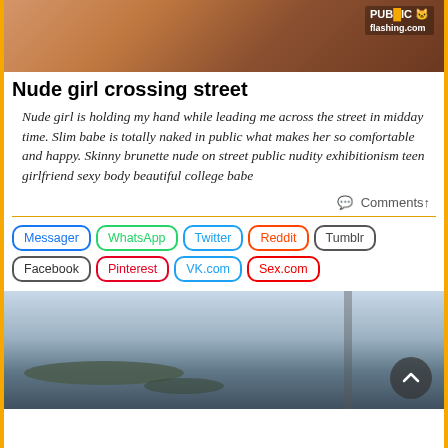[Figure (photo): Cropped photo of a person outdoors, partially visible, with a watermark reading 'PUBLIC flashing.com' in the top right corner]
Nude girl crossing street
Nude girl is holding my hand while leading me across the street in midday time. Slim babe is totally naked in public what makes her so comfortable and happy. Skinny brunette nude on street public nudity exhibitionism teen girlfriend sexy body beautiful college babe
Comments↑
Messager | WhatsApp | Twitter | Reddit | Tumblr | Facebook | Pinterest | VK.com | Sex.com
[Figure (photo): Photo of a person wearing a black cap near water with cloudy sky, with a scroll-to-top button overlay]